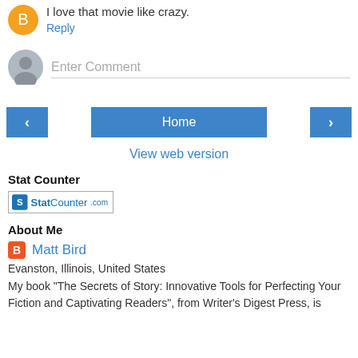I love that movie like crazy.
Reply
Enter Comment
Home
View web version
Stat Counter
[Figure (logo): StatCounter.com logo badge]
About Me
Matt Bird
Evanston, Illinois, United States
My book "The Secrets of Story: Innovative Tools for Perfecting Your Fiction and Captivating Readers", from Writer's Digest Press, is